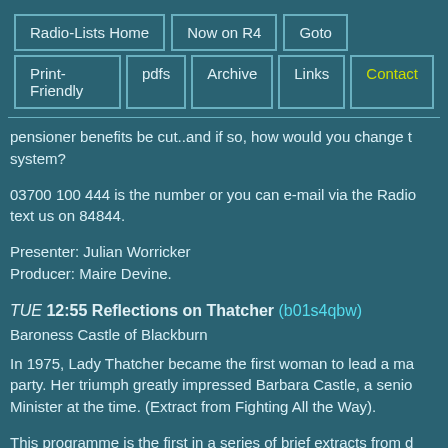Radio-Lists Home | Now on R4 | Goto | Print-Friendly | pdfs | Archive | Links | Contact
pensioner benefits be cut..and if so, how would you change the system?
03700 100 444 is the number or you can e-mail via the Radio text us on 84844.
Presenter: Julian Worricker
Producer: Maire Devine.
TUE 12:55 Reflections on Thatcher (b01s4qbw)
Baroness Castle of Blackburn
In 1975, Lady Thatcher became the first woman to lead a major party. Her triumph greatly impressed Barbara Castle, a senior Minister at the time. (Extract from Fighting All the Way).
This programme is the first in a series of brief extracts from discussions that follow Margaret Thatcher's reign full of traditions...